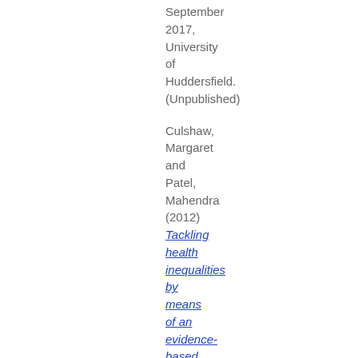September 2017, University of Huddersfield. (Unpublished)
Culshaw, Margaret and Patel, Mahendra (2012) Tackling health inequalities by means of an evidence-based